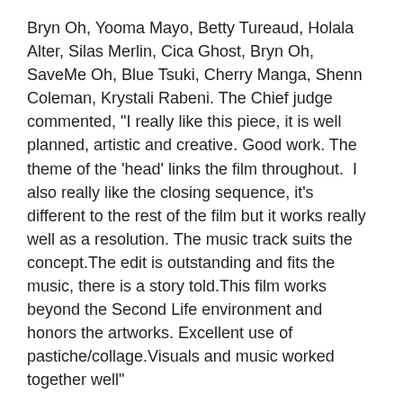Bryn Oh, Yooma Mayo, Betty Tureaud, Holala Alter, Silas Merlin, Cica Ghost, Bryn Oh, SaveMe Oh, Blue Tsuki, Cherry Manga, Shenn Coleman, Krystali Rabeni. The Chief judge commented, "I really like this piece, it is well planned, artistic and creative. Good work. The theme of the 'head' links the film throughout.  I also really like the closing sequence, it's different to the rest of the film but it works really well as a resolution. The music track suits the concept.The edit is outstanding and fits the music, there is a story told.This film works beyond the Second Life environment and honors the artworks. Excellent use of pastiche/collage.Visuals and music worked together well"
[07:18] Natascha Randt: she has something in RL to do, she told me
[07:19] Karima Hoisan: Bravo Bravo!! Glasz!'